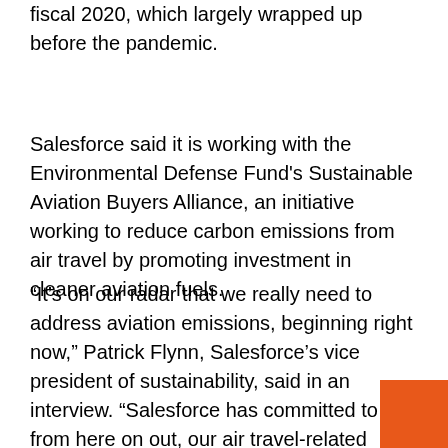fiscal 2020, which largely wrapped up before the pandemic.
Salesforce said it is working with the Environmental Defense Fund's Sustainable Aviation Buyers Alliance, an initiative working to reduce carbon emissions from air travel by promoting investment in cleaner aviation fuels.
“It’s on our radar that we really need to address aviation emissions, beginning right now,” Patrick Flynn, Salesforce’s vice president of sustainability, said in an interview. “Salesforce has committed to that from here on out, our air travel-related emissions will be 50% of the intensity of what they were before the